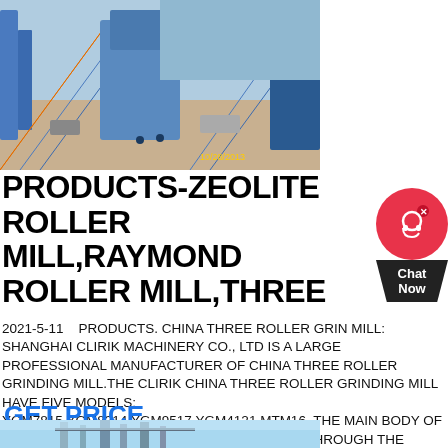[Figure (photo): Aerial/elevated view of industrial mining or construction conveyor belt equipment, blue steel structures, timestamp 10/28/2013 in yellow]
PRODUCTS-ZEOLITE ROLLER MILL,RAYMOND ROLLER MILL,THREE
2021-5-11    PRODUCTS. CHINA THREE ROLLER GRIN MILL: SHANGHAI CLIRIK MACHINERY CO., LTD IS A LARGE PROFESSIONAL MANUFACTURER OF CHINA THREE ROLLER GRINDING MILL.THE CLIRIK CHINA THREE ROLLER GRINDING MILL HAVE FIVE MODELS: YGM7815,YGM8314,YGM9517,YGM4121,MTM16. THE MAIN BODY OF RAYMOND MILL DRIVES THE CENTRAL SHAFT THROUGH THE TRANSMISSION.
GET PRICE
[Figure (photo): Industrial building or facility structure, light blue sky background, steel framework visible]